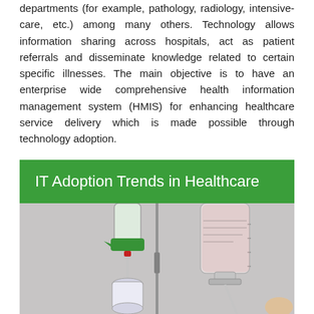departments (for example, pathology, radiology, intensive-care, etc.) among many others. Technology allows information sharing across hospitals, act as patient referrals and disseminate knowledge related to certain specific illnesses. The main objective is to have an enterprise wide comprehensive health information management system (HMIS) for enhancing healthcare service delivery which is made possible through technology adoption.
IT Adoption Trends in Healthcare
[Figure (photo): Medical IV drip bags and equipment on a pole, showing two IV bags with tubing and connectors in a clinical/hospital setting.]